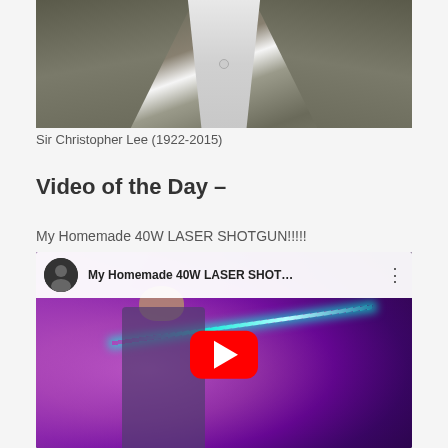[Figure (photo): Close-up black and white style photo of Sir Christopher Lee showing his coat lapels and white shirt]
Sir Christopher Lee (1922-2015)
Video of the Day –
My Homemade 40W LASER SHOTGUN!!!!!
[Figure (screenshot): YouTube video embed showing 'My Homemade 40W LASER SHOT...' with a person holding a laser shotgun in a purple/pink haze with a visible cyan laser beam, YouTube play button overlay visible]